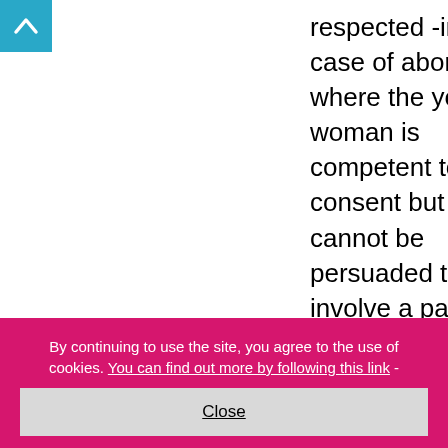[Figure (other): Teal/cyan up-arrow scroll button in top-left corner]
respected -in the case of abortion where the young woman is competent to consent but cannot be persuaded to involve a parent every effort should be made to help them find another adult to provide support for example another family member or
By continuing to use the site, you agree to the use of cookies. You can find out more by following this link -
Close